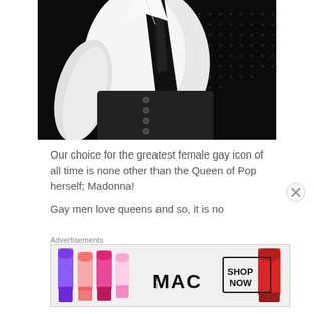[Figure (photo): Black and white photograph of a person (from below the neck) wearing a white button-up shirt with a black tie and black corset/waist cincher with buttons down the front. The background is dark/black with a dotted texture.]
Our choice for the greatest female gay icon of all time is none other than the Queen of Pop herself; Madonna!
Gay men love queens and so, it is no
Advertisements
[Figure (photo): MAC Cosmetics advertisement showing several lipsticks in purple, pink, coral and red colors beside the MAC logo with a 'SHOP NOW' button.]